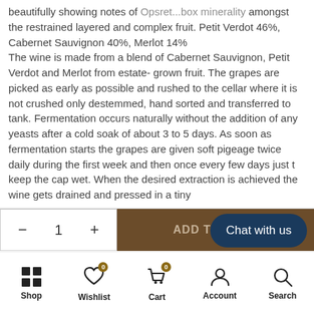beautifully showing notes of Opsret...box minerality amongst the restrained layered and complex fruit. Petit Verdot 46%, Cabernet Sauvignon 40%, Merlot 14%
The wine is made from a blend of Cabernet Sauvignon, Petit Verdot and Merlot from estate-grown fruit. The grapes are picked as early as possible and rushed to the cellar where it is not crushed only destemmed, hand sorted and transferred to tank. Fermentation occurs naturally without the addition of any yeasts after a cold soak of about 3 to 5 days. As soon as fermentation starts the grapes are given soft pigeage twice daily during the first week and then once every few days just t keep the cap wet. When the desired extraction is achieved the wine gets drained and pressed in a tiny
- 1 +
ADD TO CART
Chat with us
Shop
Wishlist
Cart
Account
Search